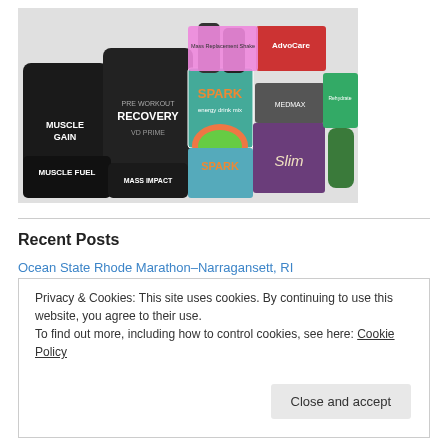[Figure (photo): Collection of dietary supplement and sports nutrition products including containers labeled Muscle Gain, Recovery, Muscle Fuel, Mass Impact, SPARK energy drink boxes, Slim, AdvoCare, and other supplement products arranged together]
Recent Posts
Ocean State Rhode Marathon–Narragansett, RI
Privacy & Cookies: This site uses cookies. By continuing to use this website, you agree to their use.
To find out more, including how to control cookies, see here: Cookie Policy
Close and accept